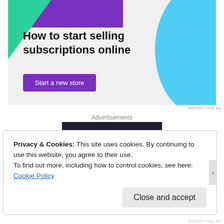[Figure (illustration): Advertisement banner for an e-commerce subscription service. Light gray background with green triangle shape top-left, purple arc top-center, and blue curved shape top-right. Bold text 'How to start selling subscriptions online' with a purple 'Start a new store' button.]
REPORT THIS AD
Advertisements
[Figure (logo): Sensei logo on dark navy background. White circle with a stylized tree/bonsai icon on the left, and the word 'sensei' in white text on the right.]
Privacy & Cookies: This site uses cookies. By continuing to use this website, you agree to their use.
To find out more, including how to control cookies, see here:
Cookie Policy
Close and accept